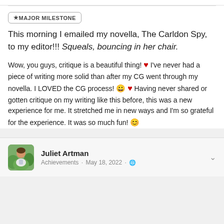★ MAJOR MILESTONE
This morning I emailed my novella, The Carldon Spy, to my editor!!! Squeals, bouncing in her chair.
Wow, you guys, critique is a beautiful thing! ❤️ I've never had a piece of writing more solid than after my CG went through my novella. I LOVED the CG process! 😀 ❤️ Having never shared or gotten critique on my writing like this before, this was a new experience for me. It stretched me in new ways and I'm so grateful for the experience. It was so much fun! 😊
Juliet Artman
Achievements · May 18, 2022 · 🌐